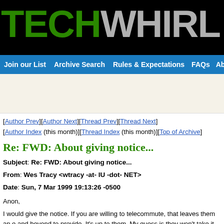TECHWHIRL Arc
Join our List   Archive Search   Rules & Expectations   FAQs   Ab
[Figure (other): Advertisement banner area with beige/cream background]
[Author Prev][Author Next][Thread Prev][Thread Next]
[Author Index (this month)][Thread Index (this month)][Top of Archive]
Re: FWD: About giving notice...
Subject: Re: FWD: About giving notice...
From: Wes Tracy <wtracy -at- IU -dot- NET>
Date: Sun, 7 Mar 1999 19:13:26 -0500
Anon,
I would give the notice. If you are willing to telecommute, that leaves them an e and beyond to provide. It's up to them. My guess is they won't take it, partly be tech writer as essential. That's their problem. You offered. Let them create thei captive employee, I too have left companies with a two week notice and left w